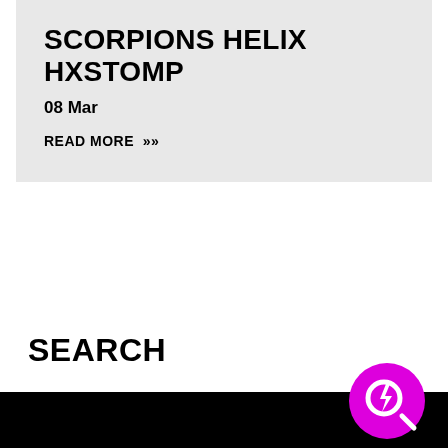SCORPIONS HELIX HXSTOMP
08 Mar
READ MORE »
SEARCH
Search
[Figure (logo): Magenta circle with a lightning bolt and magnifying glass icon (search/power logo)]